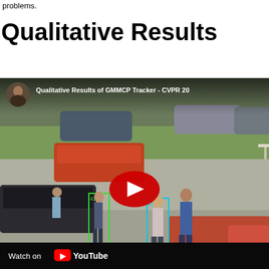problems.
Qualitative Results
[Figure (screenshot): YouTube video embed showing 'Qualitative Results of GMMCP Tracker - CVPR 20...' with a parking lot scene where people are tracked with colored bounding boxes (yellow, green, cyan, magenta) labeled with numbers. A YouTube play button is visible in the center. The bottom bar shows 'Watch on YouTube'.]